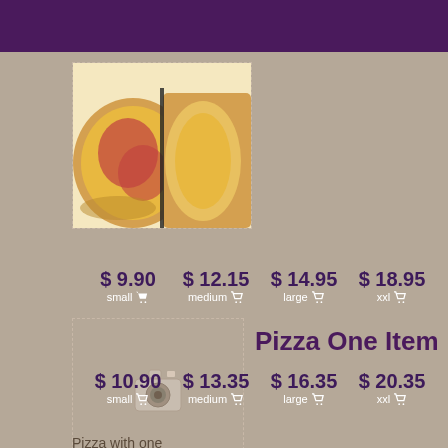[Figure (photo): Photo of pizza slices with cheese and toppings]
$ 9.90  $ 12.15  $ 14.95  $ 18.95
small  medium  large  xxl
Pizza One Item
[Figure (photo): Placeholder image for Pizza One Item]
$ 10.90  $ 13.35  $ 16.35  $ 20.35
small  medium  large  xxl
Pizza with one topping.
Pizza Two Items
[Figure (photo): Placeholder image for Pizza Two Items]
$ 11.90  $ 14.55  $ 17.75  $ 21.85
small  medium  large  xxl